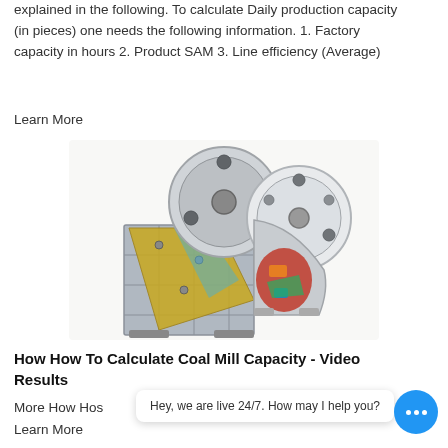explained in the following. To calculate Daily production capacity (in pieces) one needs the following information. 1. Factory capacity in hours 2. Product SAM 3. Line efficiency (Average)
Learn More
[Figure (photo): Exploded/cutaway view of an industrial jaw crusher machine showing internal components including metal housing, mechanical parts, colorful internal mechanisms, and flywheel discs.]
How How To Calculate Coal Mill Capacity - Video Results
More How Ho... s
Learn More
Hey, we are live 24/7. How may I help you?